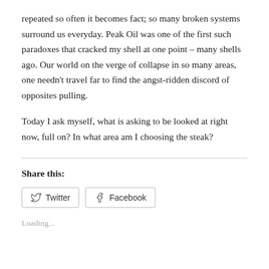repeated so often it becomes fact; so many broken systems surround us everyday. Peak Oil was one of the first such paradoxes that cracked my shell at one point – many shells ago. Our world on the verge of collapse in so many areas, one needn't travel far to find the angst-ridden discord of opposites pulling.
Today I ask myself, what is asking to be looked at right now, full on? In what area am I choosing the steak?
Share this:
Loading...